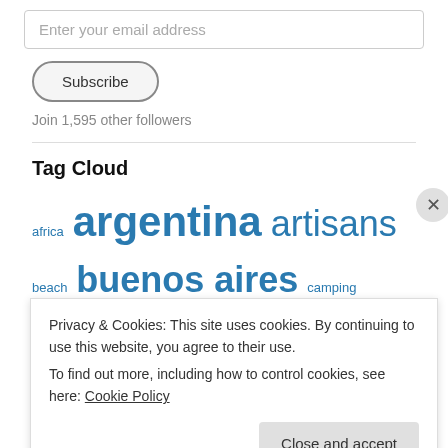Enter your email address
Subscribe
Join 1,595 other followers
Tag Cloud
africa argentina artisans beach buenos aires camping change the world charity clock tower cafe craft delaware river destination wedding Dreams earth cafe east village eat elephants
Privacy & Cookies: This site uses cookies. By continuing to use this website, you agree to their use.
To find out more, including how to control cookies, see here: Cookie Policy
Close and accept